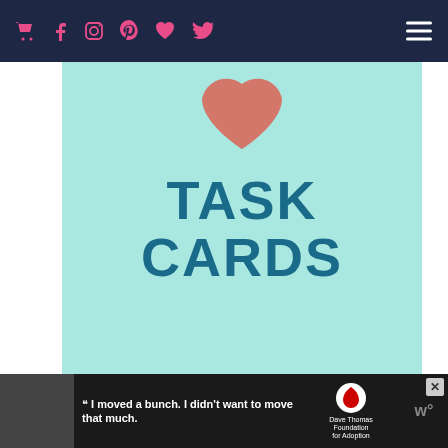Navigation bar with icons: cart, facebook, instagram, pinterest, heart, twitter, hamburger menu
[Figure (illustration): Task cards educational resource image on teal/mint green background with heart icon at top and text 'TASK CARDS' and 'MRS. E TEACHES MATH' at bottom]
ADVERTISEMENT
[Figure (screenshot): Advertisement banner at bottom showing a boy with quote 'I moved a bunch. I didn't want to move that much.' Dave Thomas Foundation for Adoption logo]